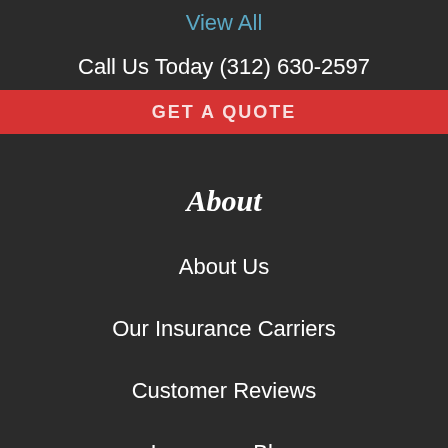View All
Call Us Today (312) 630-2597
GET A QUOTE
About
About Us
Our Insurance Carriers
Customer Reviews
Insurance Blog